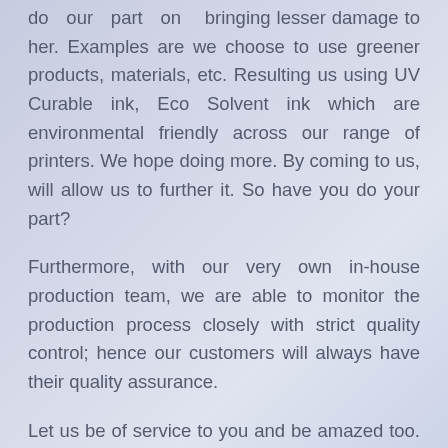do our part on bringing lesser damage to her. Examples are we choose to use greener products, materials, etc. Resulting us using UV Curable ink, Eco Solvent ink which are environmental friendly across our range of printers. We hope doing more. By coming to us, will allow us to further it. So have you do your part?
Furthermore, with our very own in-house production team, we are able to monitor the production process closely with strict quality control; hence our customers will always have their quality assurance.
Let us be of service to you and be amazed too. Call us now to find out